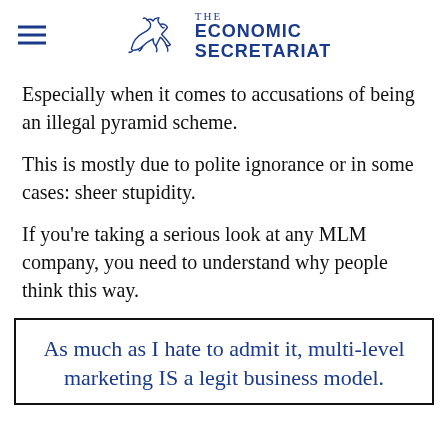THE ECONOMIC SECRETARIAT
Especially when it comes to accusations of being an illegal pyramid scheme.
This is mostly due to polite ignorance or in some cases: sheer stupidity.
If you're taking a serious look at any MLM company, you need to understand why people think this way.
As much as I hate to admit it, multi-level marketing IS a legit business model.